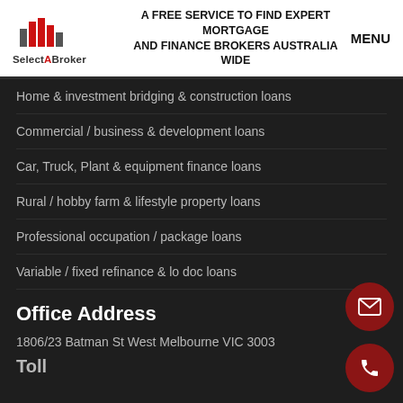[Figure (logo): SelectABroker logo with stylized building/graph icon in red and grey above text 'SelectABroker']
A FREE SERVICE TO FIND EXPERT MORTGAGE AND FINANCE BROKERS AUSTRALIA WIDE
MENU
Home & investment bridging & construction loans
Commercial / business & development loans
Car, Truck, Plant & equipment finance loans
Rural / hobby farm & lifestyle property loans
Professional occupation / package loans
Variable / fixed refinance & lo doc loans
Office Address
1806/23 Batman St West Melbourne VIC 3003
Toll...